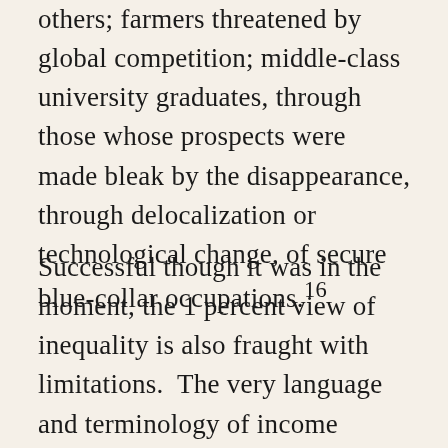others; farmers threatened by global competition; middle-class university graduates, through those whose prospects were made bleak by the disappearance, through delocalization or technological change, of secure blue-collar occupations.16
Successful though it was in the moment, the 1 percent view of inequality is also fraught with limitations. The very language and terminology of income inequality does not by itself bring clarity. Inequality is a noun, not a verb, and as such obscures the issue of agency, which further contributes to its naturalization and to conflating the many different processes through which